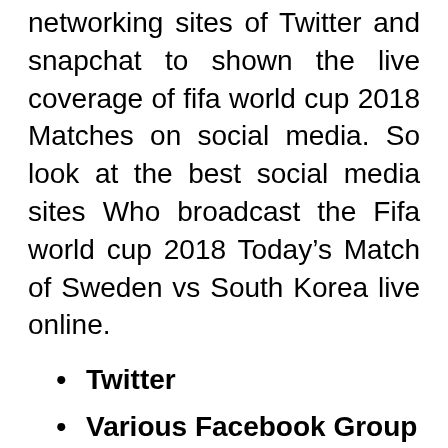networking sites of Twitter and snapchat to shown the live coverage of fifa world cup 2018 Matches on social media. So look at the best social media sites Who broadcast the Fifa world cup 2018 Today’s Match of Sweden vs South Korea live online.
Twitter
Various Facebook Group and Pages
Youtube Channels